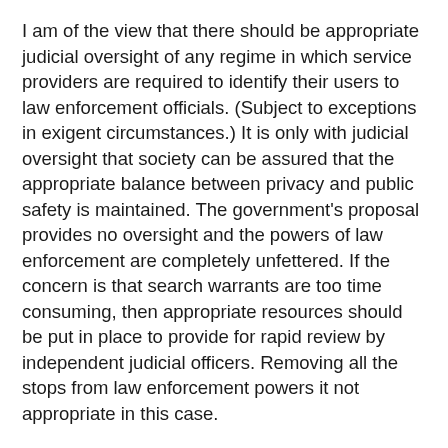I am of the view that there should be appropriate judicial oversight of any regime in which service providers are required to identify their users to law enforcement officials. (Subject to exceptions in exigent circumstances.) It is only with judicial oversight that society can be assured that the appropriate balance between privacy and public safety is maintained. The government's proposal provides no oversight and the powers of law enforcement are completely unfettered. If the concern is that search warrants are too time consuming, then appropriate resources should be put in place to provide for rapid review by independent judicial officers. Removing all the stops from law enforcement powers it not appropriate in this case.
Currently there is a disparity of practices among telecommunication service providers and internet service providers across Canada when dealing with a request from a law enforcement agent to provide a customer name and address connected with a specific IP address. This is due to at least a measure of uncertainty in interpreting the service provider's obligations under the Personal Information Protection and Electronic Documents Act. Most ISPs will